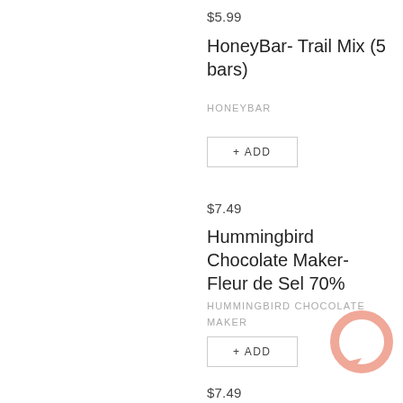$5.99
HoneyBar- Trail Mix (5 bars)
HONEYBAR
+ ADD
$7.49
Hummingbird Chocolate Maker- Fleur de Sel 70%
HUMMINGBIRD CHOCOLATE MAKER
+ ADD
[Figure (illustration): Pink circular chat bubble icon in bottom right corner]
$7.49